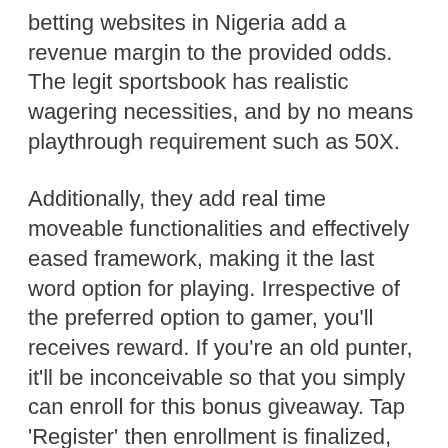betting websites in Nigeria add a revenue margin to the provided odds. The legit sportsbook has realistic wagering necessities, and by no means playthrough requirement such as 50X.
Additionally, they add real time moveable functionalities and effectively eased framework, making it the last word option for playing. Irrespective of the preferred option to gamer, you'll receives reward. If you're an old punter, it'll be inconceivable so that you simply can enroll for this bonus giveaway. Tap 'Register' then enrollment is finalized, 'Registration Complete' message immediate is displayed. Punter shall observe improvement in earnings made in punter's account.
They will deliver your required merchandise to your doorstep within some working days. You will then